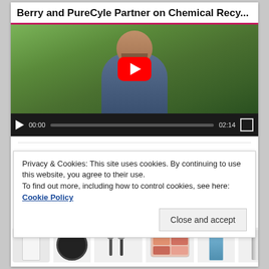Berry and PureCyle Partner on Chemical Recy...
[Figure (screenshot): Embedded YouTube video player showing a man outdoors in a garden/park setting with a red YouTube play button overlay. Video controls show play button, timestamp 00:00, progress bar, end time 02:14, and fullscreen button.]
BIOPLASTICS IN COSMETICS
Privacy & Cookies: This site uses cookies. By continuing to use this website, you agree to their use.
To find out more, including how to control cookies, see here: Cookie Policy
Close and accept
[Figure (photo): Row of cosmetics products including a white cylinder, black compact, makeup brushes, a blush palette, blue skincare bottle, silver bottle, and red tube.]